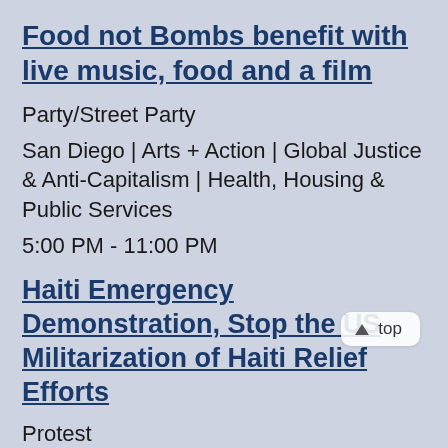Food not Bombs benefit with live music, food and a film
Party/Street Party
San Diego | Arts + Action | Global Justice & Anti-Capitalism | Health, Housing & Public Services
5:00 PM - 11:00 PM
Haiti Emergency Demonstration, Stop the US Militarization of Haiti Relief Efforts
Protest
San Francisco | Global Justice & Anti-